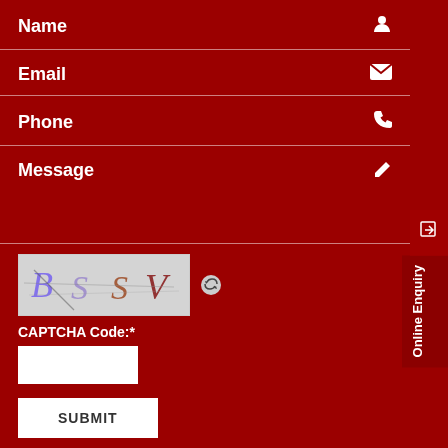Name
Email
Phone
Message
[Figure (other): CAPTCHA image showing handwritten characters BSSV on light gray background]
CAPTCHA Code:*
SUBMIT
Online Enquiry